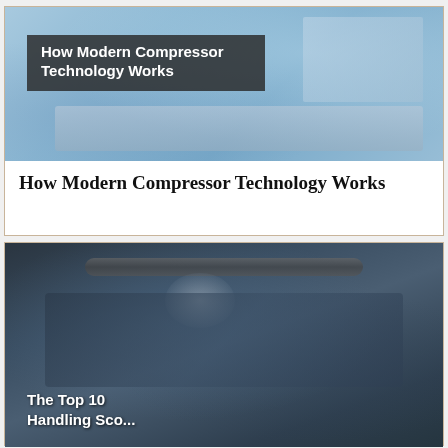[Figure (photo): Photo of a laptop with digital overlay graphics, showing a person working, with a dark semi-transparent box overlay containing white bold text 'How Modern Compressor Technology Works']
How Modern Compressor Technology Works
[Figure (photo): Photo of a blue scooter/motorcycle close-up with handlebars and headlight visible, with white bold text overlay at bottom reading 'The Top 10 Handling...' (partially visible)]